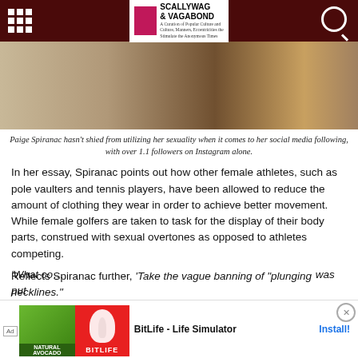Scallywag & Vagabond
[Figure (photo): Photo of two female athletes/golfers cropped at torso level, one in denim shorts and one in a red top]
Paige Spiranac hasn't shied from utilizing her sexuality when it comes to her social media following, with over 1.1 followers on Instagram alone.
In her essay, Spiranac points out how other female athletes, such as pole vaulters and tennis players, have been allowed to reduce the amount of clothing they wear in order to achieve better movement. While female golfers are taken to task for the display of their body parts, construed with sexual overtones as opposed to athletes competing.
Reflects Spiranac further, 'Take the vague banning of "plunging necklines."
'What co... was put
[Figure (screenshot): Advertisement banner for BitLife - Life Simulator mobile game with Install button]